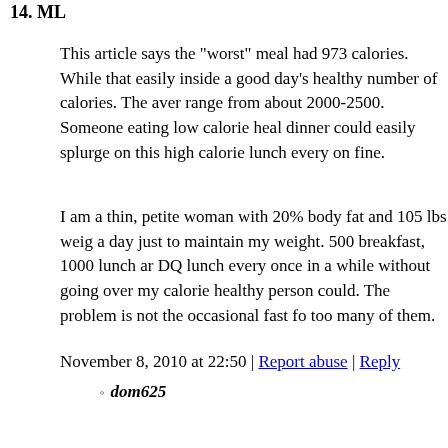14. ML
This article says the "worst" meal had 973 calories. While that easily inside a good day's healthy number of calories. The aver range from about 2000-2500. Someone eating low calorie heal dinner could easily splurge on this high calorie lunch every on fine.
I am a thin, petite woman with 20% body fat and 105 lbs weig a day just to maintain my weight. 500 breakfast, 1000 lunch ar DQ lunch every once in a while without going over my calorie healthy person could. The problem is not the occasional fast fo too many of them.
November 8, 2010 at 22:50 | Report abuse | Reply
dom625
Yes, but this study was focusing on kids, not on adults. T are different than those of a full-grown person, so 973 ca quite a bit.
November 9, 2010 at 08:29 | Report abuse |
15. goober
So an abundance advertising is to blame for obesity now? Wha personal responsibility? People are being compelled into buyir